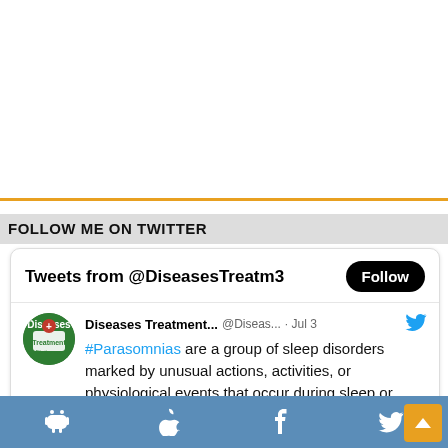FOLLOW ME ON TWITTER
[Figure (screenshot): Twitter widget showing tweets from @DiseasesTreatm3 with a Follow button. A tweet from Diseases Treatment... (@Diseas...) dated Jul 3 reads: #Parasomnias are a group of sleep disorders marked by unusual actions, activities, or physiological events that occur during sleep or sleep-wake transitions.]
Social media icon bar with Android, Apple, Facebook, and Twitter icons